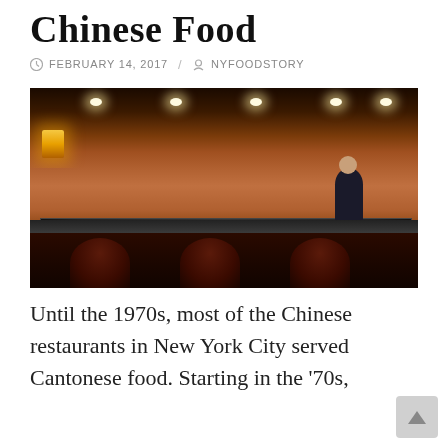Chinese Food
FEBRUARY 14, 2017 / NYFOODSTORY
[Figure (photo): Interior of a Chinese restaurant showing wood-paneled walls, recessed ceiling lights, a glass display case with food, and bar stools in the foreground. A person in dark clothing is visible behind the counter.]
Until the 1970s, most of the Chinese restaurants in New York City served Cantonese food. Starting in the '70s,